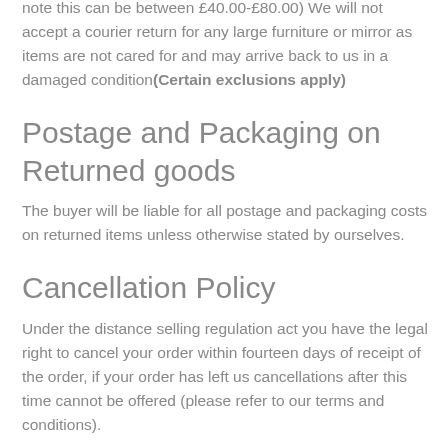box. Once the item is returned to us the delivery charges we have incurred will be deducted from any refund (please note this can be between £40.00-£80.00) We will not accept a courier return for any large furniture or mirror as items are not cared for and may arrive back to us in a damaged condition(Certain exclusions apply)
Postage and Packaging on Returned goods
The buyer will be liable for all postage and packaging costs on returned items unless otherwise stated by ourselves.
Cancellation Policy
Under the distance selling regulation act you have the legal right to cancel your order within fourteen days of receipt of the order, if your order has left us cancellations after this time cannot be offered (please refer to our terms and conditions).
The customer is responsible for all returns delivery/postage costs unless damaged or faulty.